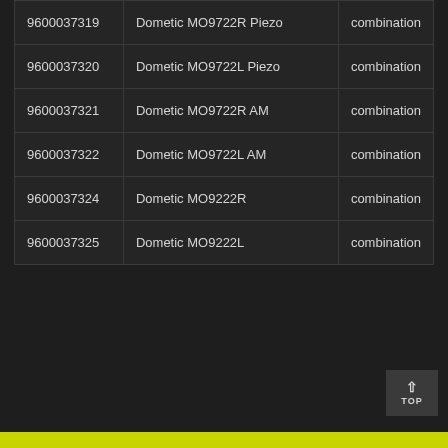| 9600037319 | Dometic MO9722R Piezo | combination |
| 9600037320 | Dometic MO9722L Piezo | combination |
| 9600037321 | Dometic MO9722R AM | combination |
| 9600037322 | Dometic MO9722L AM | combination |
| 9600037324 | Dometic MO9222R | combination |
| 9600037325 | Dometic MO9222L | combination |
TOP